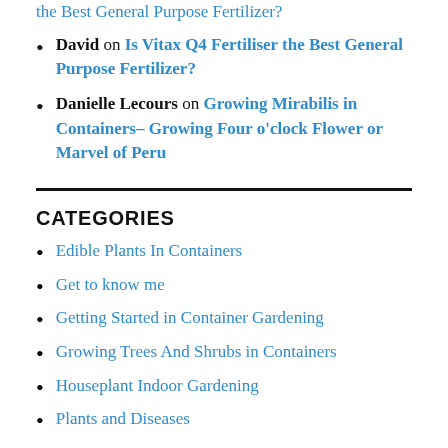David on Is Vitax Q4 Fertiliser the Best General Purpose Fertilizer?
Danielle Lecours on Growing Mirabilis in Containers– Growing Four o'clock Flower or Marvel of Peru
CATEGORIES
Edible Plants In Containers
Get to know me
Getting Started in Container Gardening
Growing Trees And Shrubs in Containers
Houseplant Indoor Gardening
Plants and Diseases